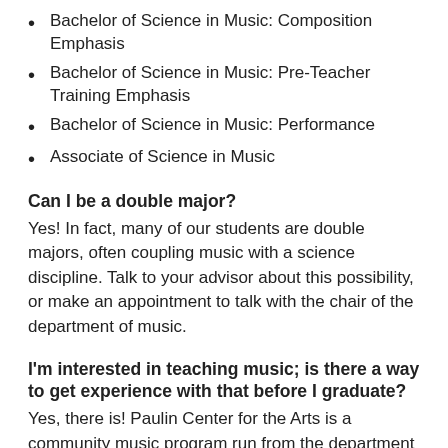Bachelor of Science in Music: Composition Emphasis
Bachelor of Science in Music: Pre-Teacher Training Emphasis
Bachelor of Science in Music: Performance
Associate of Science in Music
Can I be a double major?
Yes! In fact, many of our students are double majors, often coupling music with a science discipline. Talk to your advisor about this possibility, or make an appointment to talk with the chair of the department of music.
I'm interested in teaching music; is there a way to get experience with that before I graduate?
Yes, there is! Paulin Center for the Arts is a community music program run from the department of music office, and we frequently hire college students as student teachers in this program. (Yes, for pay!) Mention your interest to the department chair or the music office manager to get the